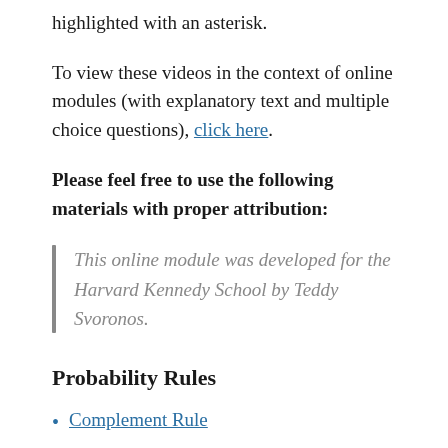highlighted with an asterisk.
To view these videos in the context of online modules (with explanatory text and multiple choice questions), click here.
Please feel free to use the following materials with proper attribution:
This online module was developed for the Harvard Kennedy School by Teddy Svoronos.
Probability Rules
Complement Rule